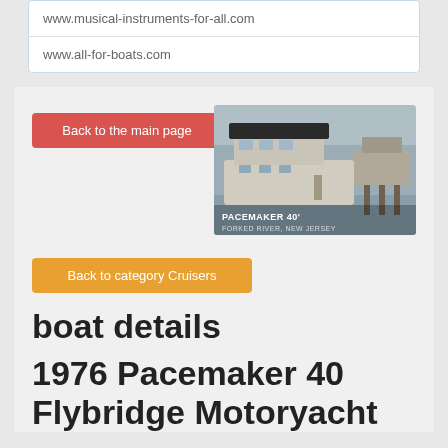www.musical-instruments-for-all.com
www.all-for-boats.com
Back to the main page
[Figure (photo): Photo of a Pacemaker 40 foot boat at Forked River, New Jersey marina]
Back to category Cruisers
boat details
1976 Pacemaker 40 Flybridge Motoryacht